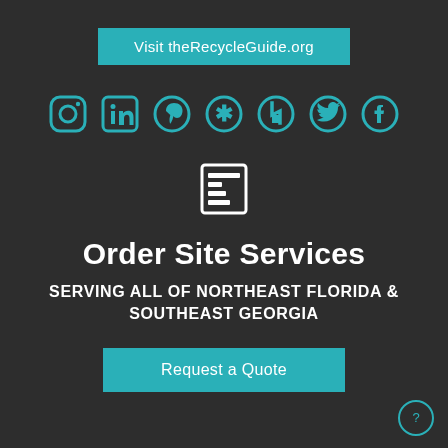Visit theRecycleGuide.org
[Figure (infographic): Row of 7 social media icons in teal: Instagram, LinkedIn, Pinterest, Yelp, Houzz, Twitter, Facebook]
[Figure (other): Form/list icon in white outline style]
Order Site Services
SERVING ALL OF NORTHEAST FLORIDA & SOUTHEAST GEORGIA
Request a Quote